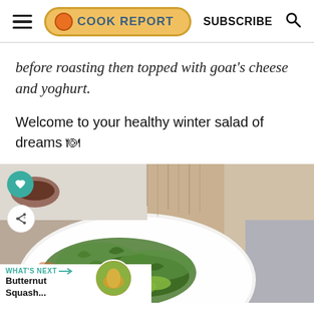THE COOK REPORT | SUBSCRIBE
before roasting then topped with goat's cheese and yoghurt.
Welcome to your healthy winter salad of dreams 🍽
[Figure (photo): Close-up overhead photo of a white plate with a winter salad featuring arugula, roasted vegetables, avocado slices, and crumbled goat's cheese, with a burlap/linen napkin in the background. Heart and share icons overlay on the left side. A 'What's Next' banner shows a thumbnail of a butternut squash dish.]